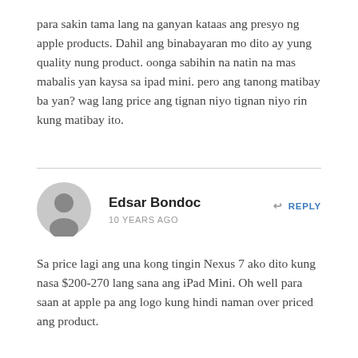para sakin tama lang na ganyan kataas ang presyo ng apple products. Dahil ang binabayaran mo dito ay yung quality nung product. oonga sabihin na natin na mas mabalis yan kaysa sa ipad mini. pero ang tanong matibay ba yan? wag lang price ang tignan niyo tignan niyo rin kung matibay ito.
Edsar Bondoc
10 YEARS AGO
REPLY
Sa price lagi ang una kong tingin Nexus 7 ako dito kung nasa $200-270 lang sana ang iPad Mini. Oh well para saan at apple pa ang logo kung hindi naman over priced ang product.